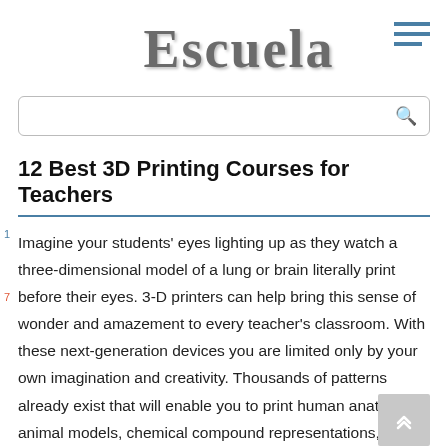Escuela
12 Best 3D Printing Courses for Teachers
Imagine your students' eyes lighting up as they watch a three-dimensional model of a lung or brain literally print before their eyes. 3-D printers can help bring this sense of wonder and amazement to every teacher's classroom. With these next-generation devices you are limited only by your own imagination and creativity. Thousands of patterns already exist that will enable you to print human anatomy, animal models, chemical compound representations, and